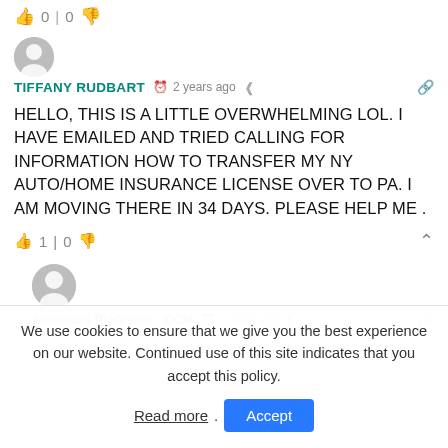👍 0 | 0 👎
[Figure (illustration): Gray circular avatar icon with default user silhouette]
TIFFANY RUDBART  ⏱ 2 years ago  🔗
HELLO, THIS IS A LITTLE OVERWHELMING LOL. I HAVE EMAILED AND TRIED CALLING FOR INFORMATION HOW TO TRANSFER MY NY AUTO/HOME INSURANCE LICENSE OVER TO PA. I AM MOVING THERE IN 34 DAYS. PLEASE HELP ME .
👍 1 | 0 👎  ⌃
[Figure (illustration): Gray circular avatar icon with default user silhouette (second comment)]
America's Professor - DCM  ⏱ 2 years ago  🔗
We use cookies to ensure that we give you the best experience on our website. Continued use of this site indicates that you accept this policy.
Read more.  Accept